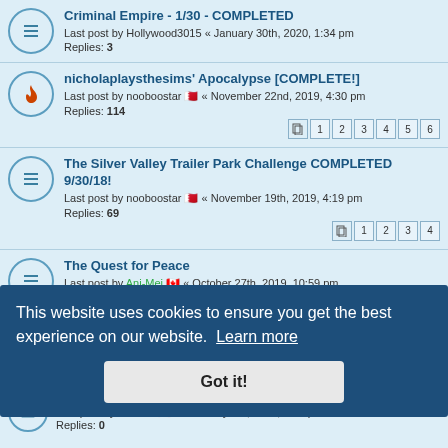Criminal Empire - 1/30 - COMPLETED
Last post by Hollywood3015 « January 30th, 2020, 1:34 pm
Replies: 3
nicholaplaysthesims' Apocalypse [COMPLETE!]
Last post by nooboostar 🇧🇭 « November 22nd, 2019, 4:30 pm
Replies: 114
Pages: 1 2 3 4 5 6
The Silver Valley Trailer Park Challenge COMPLETED 9/30/18!
Last post by nooboostar 🇧🇭 « November 19th, 2019, 4:19 pm
Replies: 69
Pages: 1 2 3 4
The Quest for Peace
Last post by Ani-Mei 🇨🇦 « October 27th, 2019, 10:59 pm
Replies: 11
Halloween Asylum completed
Last post by ciyrose 🇺🇸 « October 21st, 2019, 11:11 am
Replies: 1
This website uses cookies to ensure you get the best experience on our website. Learn more
Got it!
…ETED]
Last post by Ani-Mei 🇨🇦 « February 7th, 2019, 4:00 pm
Replies: 0